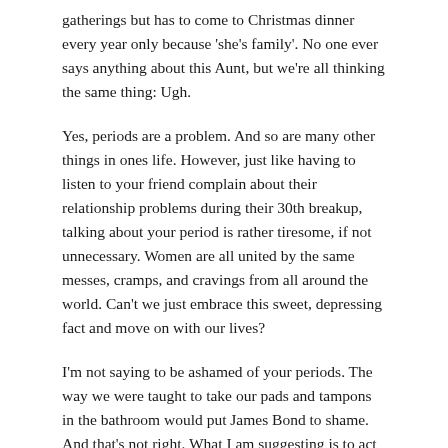gatherings but has to come to Christmas dinner every year only because 'she's family'. No one ever says anything about this Aunt, but we're all thinking the same thing: Ugh.
Yes, periods are a problem. And so are many other things in ones life. However, just like having to listen to your friend complain about their relationship problems during their 30th breakup, talking about your period is rather tiresome, if not unnecessary. Women are all united by the same messes, cramps, and cravings from all around the world. Can't we just embrace this sweet, depressing fact and move on with our lives?
I'm not saying to be ashamed of your periods. The way we were taught to take our pads and tampons in the bathroom would put James Bond to shame. And that's not right. What I am suggesting is to act natural about it. The same way we act when we excuse ourselves to go pee and poo. You may not have any problem announcing to your roommate that you have to "take a really big sh*t" after your date at Chipotle, but you would